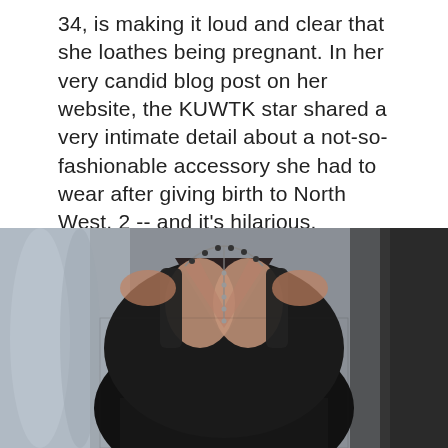34, is making it loud and clear that she loathes being pregnant. In her very candid blog post on her website, the KUWTK star shared a very intimate detail about a not-so-fashionable accessory she had to wear after giving birth to North West, 2 -- and it's hilarious.
By: brittanyking2244
October 6, 2015 11:40AM EDT
[Figure (photo): Woman in black lace dress with chain necklace, photographed from chest up against a gray/silver background]